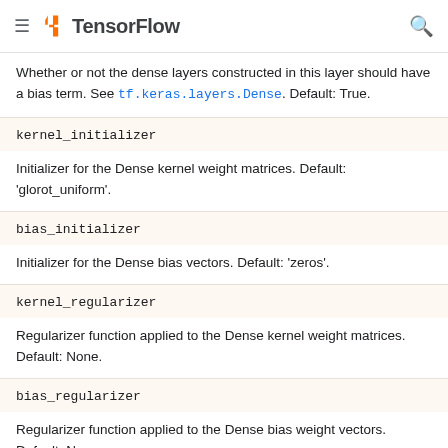TensorFlow
Whether or not the dense layers constructed in this layer should have a bias term. See tf.keras.layers.Dense. Default: True.
kernel_initializer
Initializer for the Dense kernel weight matrices. Default: 'glorot_uniform'.
bias_initializer
Initializer for the Dense bias vectors. Default: 'zeros'.
kernel_regularizer
Regularizer function applied to the Dense kernel weight matrices. Default: None.
bias_regularizer
Regularizer function applied to the Dense bias weight vectors. Default: None.